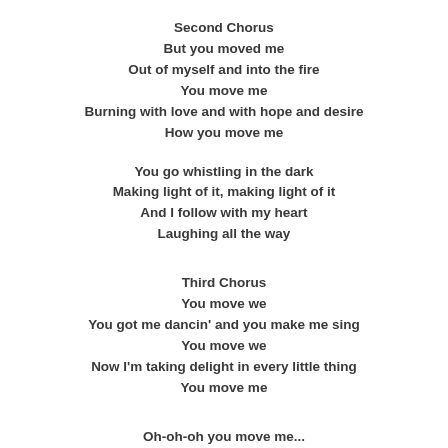Second Chorus
But you moved me
Out of myself and into the fire
You move me
Burning with love and with hope and desire
How you move me
You go whistling in the dark
Making light of it, making light of it
And I follow with my heart
Laughing all the way
Third Chorus
You move we
You got me dancin' and you make me sing
You move we
Now I'm taking delight in every little thing
You move me
Oh-oh-oh you move me...